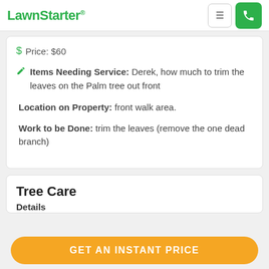LawnStarter
Price: $60
Items Needing Service: Derek, how much to trim the leaves on the Palm tree out front
Location on Property: front walk area.
Work to be Done: trim the leaves (remove the one dead branch)
Tree Care
Details
GET AN INSTANT PRICE